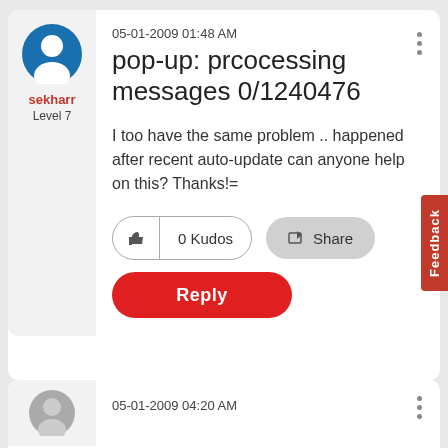05-01-2009 01:48 AM
pop-up: prcocessing messages 0/1240476
sekharr
Level 7
I too have the same problem .. happened after recent auto-update can anyone help on this? Thanks!=
0 Kudos
Share
Reply
05-01-2009 04:20 AM